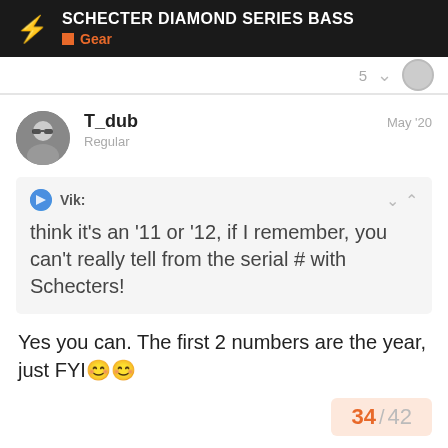SCHECTER DIAMOND SERIES BASS — Gear
T_dub
Regular
May '20
Vik:
think it’s an ’11 or ’12, if I remember, you can’t really tell from the serial # with Schecters!
Yes you can. The first 2 numbers are the year, just FYI😊😊
34 / 42